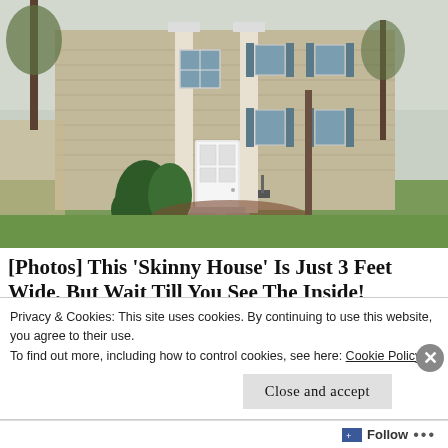[Figure (photo): Exterior photo of a two-story beige/tan colonial-style house with white columns, blue shutters, a white front door, evergreen shrubs, and green lawn. Trees visible in background.]
[Photos] This 'Skinny House' Is Just 3 Feet Wide, But Wait Till You See The Inside!
BuzzFond
Privacy & Cookies: This site uses cookies. By continuing to use this website, you agree to their use.
To find out more, including how to control cookies, see here: Cookie Policy
Close and accept
Follow